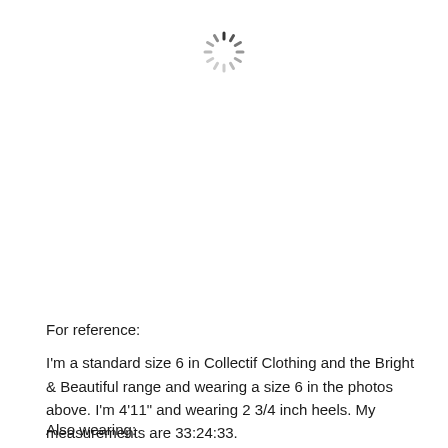[Figure (other): Loading spinner icon — circular dashed spinner graphic centered near the top of the page]
For reference:
I'm a standard size 6 in Collectif Clothing and the Bright & Beautiful range and wearing a size 6 in the photos above. I'm 4'11" and wearing 2 3/4 inch heels. My measurements are 33:24:33.
Also wearing: